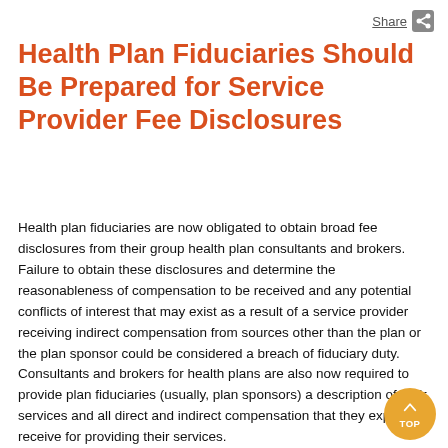Share
Health Plan Fiduciaries Should Be Prepared for Service Provider Fee Disclosures
Health plan fiduciaries are now obligated to obtain broad fee disclosures from their group health plan consultants and brokers. Failure to obtain these disclosures and determine the reasonableness of compensation to be received and any potential conflicts of interest that may exist as a result of a service provider receiving indirect compensation from sources other than the plan or the plan sponsor could be considered a breach of fiduciary duty. Consultants and brokers for health plans are also now required to provide plan fiduciaries (usually, plan sponsors) a description of their services and all direct and indirect compensation that they expect to receive for providing their services.
These new rules are already in effect. Both fiduciaries and consultants/brokers should be prepared to comply with the ne...